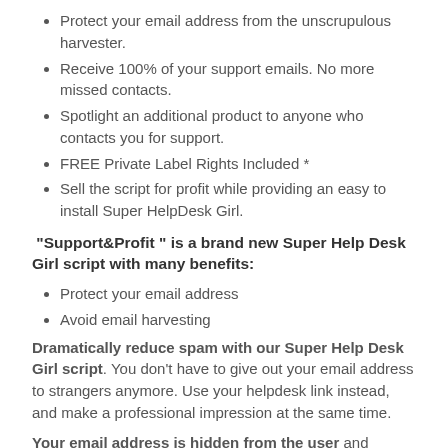Protect your email address from the unscrupulous harvester.
Receive 100% of your support emails. No more missed contacts.
Spotlight an additional product to anyone who contacts you for support.
FREE Private Label Rights Included *
Sell the script for profit while providing an easy to install Super HelpDesk Girl.
"Support&Profit " is a brand new Super Help Desk Girl script with many benefits:
Protect your email address
Avoid email harvesting
Dramatically reduce spam with our Super Help Desk Girl script. You don't have to give out your email address to strangers anymore. Use your helpdesk link instead, and make a professional impression at the same time.
Your email address is hidden from the user and